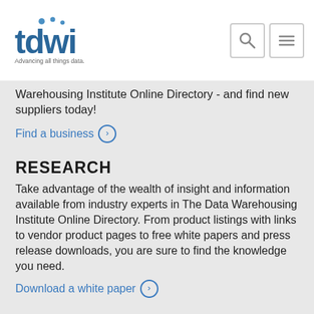[Figure (logo): TDWI logo with dots above letters and tagline 'Advancing all things data.']
Warehousing Institute Online Directory - and find new suppliers today!
Find a business ⊙
RESEARCH
Take advantage of the wealth of insight and information available from industry experts in The Data Warehousing Institute Online Directory. From product listings with links to vendor product pages to free white papers and press release downloads, you are sure to find the knowledge you need.
Download a white paper ⊙
CONNECT
Get connected to the latest industry news and